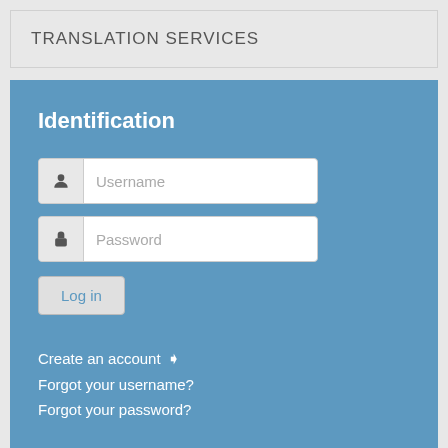TRANSLATION SERVICES
Identification
Username
Password
Log in
Create an account ❯
Forgot your username?
Forgot your password?